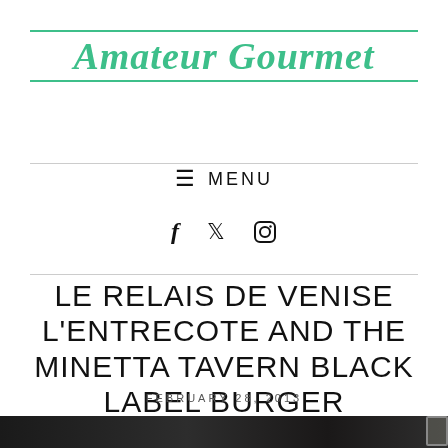Amateur Gourmet
☰ MENU
f  ✦  🐦  📷
LE RELAIS DE VENISE L'ENTRECOTE AND THE MINETTA TAVERN BLACK LABEL BURGER
FEBRUARY 28, 2013
[Figure (photo): Dark restaurant interior photo, partially visible at bottom of page]